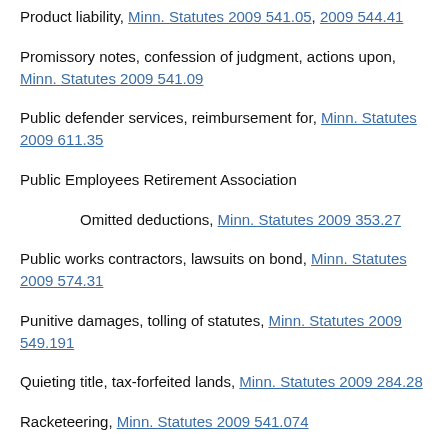Product liability, Minn. Statutes 2009 541.05, 2009 544.41
Promissory notes, confession of judgment, actions upon, Minn. Statutes 2009 541.09
Public defender services, reimbursement for, Minn. Statutes 2009 611.35
Public Employees Retirement Association
Omitted deductions, Minn. Statutes 2009 353.27
Public works contractors, lawsuits on bond, Minn. Statutes 2009 574.31
Punitive damages, tolling of statutes, Minn. Statutes 2009 549.191
Quieting title, tax-forfeited lands, Minn. Statutes 2009 284.28
Racketeering, Minn. Statutes 2009 541.074
Railroad personnel, steam, death or personal injury, lawsuits